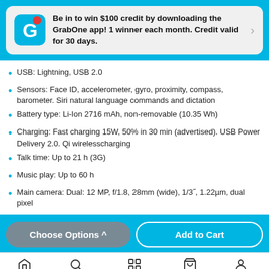[Figure (infographic): GrabOne app promotional banner with blue G logo and notification dot. Text: Be in to win $100 credit by downloading the GrabOne app! 1 winner each month. Credit valid for 30 days.]
USB: Lightning, USB 2.0
Sensors: Face ID, accelerometer, gyro, proximity, compass, barometer. Siri natural language commands and dictation
Battery type: Li-Ion 2716 mAh, non-removable (10.35 Wh)
Charging: Fast charging 15W, 50% in 30 min (advertised). USB Power Delivery 2.0. Qi wirelesscharging
Talk time: Up to 21 h (3G)
Music play: Up to 60 h
Main camera: Dual: 12 MP, f/1.8, 28mm (wide), 1/3", 1.22µm, dual pixel
Choose Options ^ | Add to Cart
Home | Search | Categories | Cart | Account